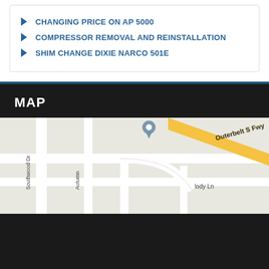CHANGING PRICE ON AP 5000
COMPRESSOR REMOVAL AND REINSTALLATION
SHIM CHANGE DIXIE NARCO 501E
MAP
[Figure (map): Street map showing Outerbelt S Fwy, Melody Ln, and surrounding streets with a location pin marker]